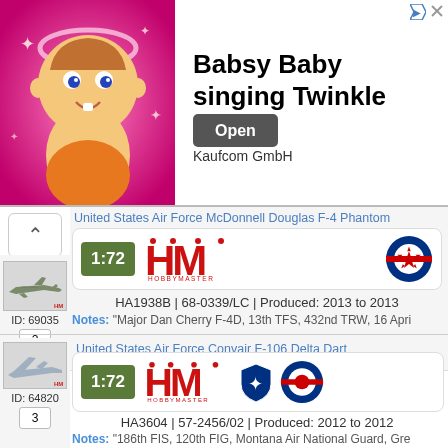[Figure (screenshot): Advertisement banner for Babsy Baby singing Twinkle app by Kaufcom GmbH with Open button]
United States Air Force McDonnell Douglas F-4 Phantom
ID: 69035 | 2
1:72 | HobbyMaster logo | USAF roundel
HA1938B | 68-0339/LC | Produced: 2013 to 2013
Notes: "Major Dan Cherry F-4D, 13th TFS, 432nd TRW, 16 Apri
United States Air Force Convair F-106 Delta Dart
ID: 64820 | 3
1:72 | HobbyMaster logo | USAF roundel
HA3604 | 57-2456/02 | Produced: 2012 to 2012
Notes: "186th FIS, 120th FIG, Montana Air National Guard, Gre Montana 1970s".
United States Air Force Republic F-105 Thunderchief
ID: 69068
1:72 | HobbyMaster logo | USAF roundel